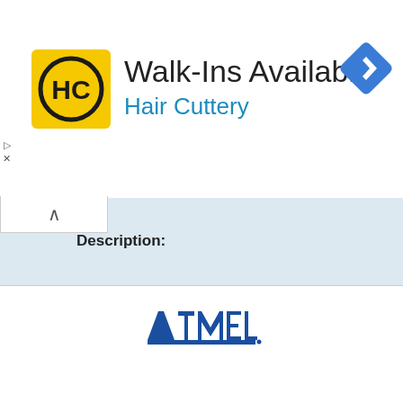[Figure (logo): Hair Cuttery logo: yellow square with HC letters in black circle]
Walk-Ins Available
Hair Cuttery
[Figure (logo): Blue diamond navigation arrow icon]
Description:
Manufacturer:
ATMEL Corporation
Datasheet:
U2403B.pdf  (12 pages)
[Figure (other): Buy button with shopping cart icon]
[Figure (logo): ATMEL corporation logo in blue]